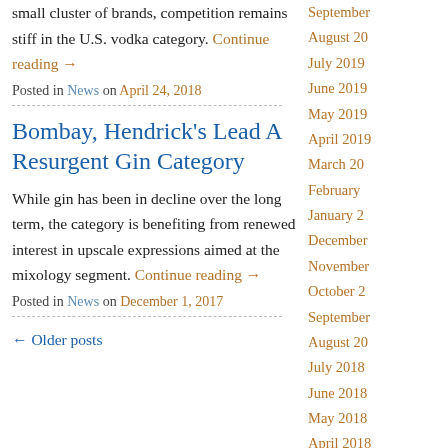small cluster of brands, competition remains stiff in the U.S. vodka category. Continue reading →
Posted in News on April 24, 2018
Bombay, Hendrick's Lead A Resurgent Gin Category
While gin has been in decline over the long term, the category is benefiting from renewed interest in upscale expressions aimed at the mixology segment. Continue reading →
Posted in News on December 1, 2017
← Older posts
September
August 20
July 2019
June 2019
May 2019
April 2019
March 20
February
January 2
December
November
October 2
September
August 20
July 2018
June 2018
May 2018
April 2018
March 20
February
January 2
December